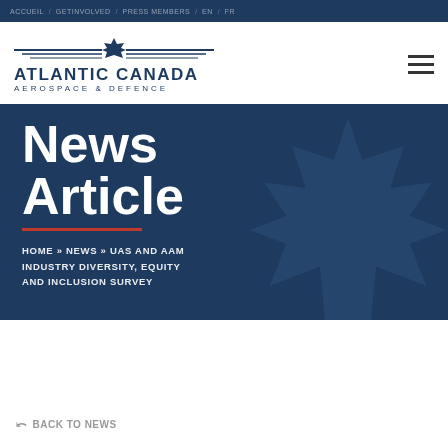ACCUEIL / GETINVOLVED / PRESS MEMBERS / EN / FR
[Figure (logo): Atlantic Canada Aerospace & Defence logo with maple leaf and wing graphic above text]
News Article
HOME » NEWS » UAS AND AAM INDUSTRY DIVERSITY, EQUITY AND INCLUSION SURVEY
BACK TO NEWS